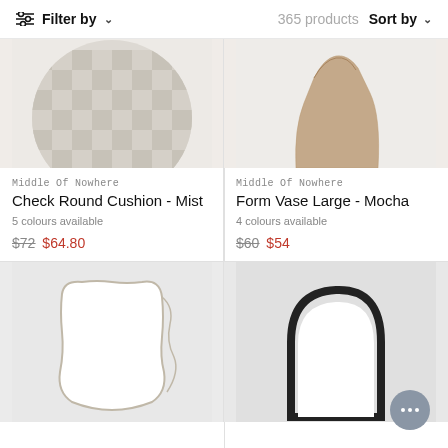Filter by   365 products   Sort by
[Figure (photo): Check round cushion with grey and white checkerboard pattern on light background]
Middle Of Nowhere
Check Round Cushion - Mist
5 colours available
$72  $64.80
[Figure (photo): Beige/mocha ceramic form vase large on white background]
Middle Of Nowhere
Form Vase Large - Mocha
4 colours available
$60  $54
[Figure (photo): White wavy-edged mirror with squiggly frame on white background]
[Figure (photo): Black arch/semi-circular lamp on grey background]